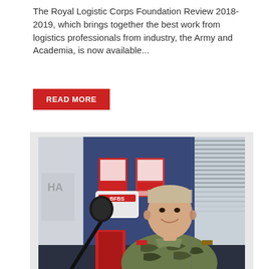The Royal Logistic Corps Foundation Review 2018-2019, which brings together the best work from logistics professionals from industry, the Army and Academia, is now available...
READ MORE
[Figure (photo): A soldier in British Army camouflage uniform smiling in a radio studio, sitting next to a microphone stand with a radio station branded mic cover. Blue walls with posters in background, window blinds visible on right.]